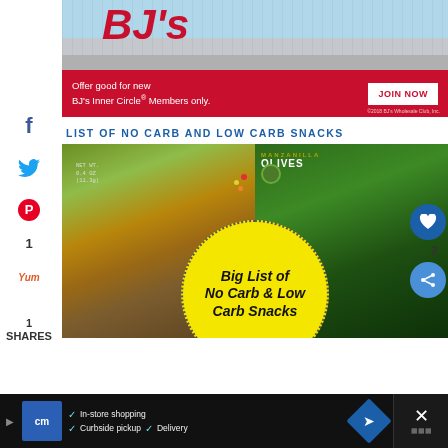[Figure (photo): BJ's Wholesale Club advertisement banner with store sign photo and red background offering JOIN NOW for BJ's Inner Circle Members. Text: Offer good for new BJ's Inner Circle® Members only. JOIN NOW. ©2019 BJ's Wholesale Club, Inc.]
LIST OF NO CARB AND LOW CARB SNACKS
[Figure (photo): Photo of snack packages including olives with text 'Big List of No Carb & Low Carb Snacks' in a yellow circle overlay]
[Figure (screenshot): Bottom advertisement banner: cm logo, In-store shopping, Curbside pickup, Delivery, with navigation arrow icon and close button]